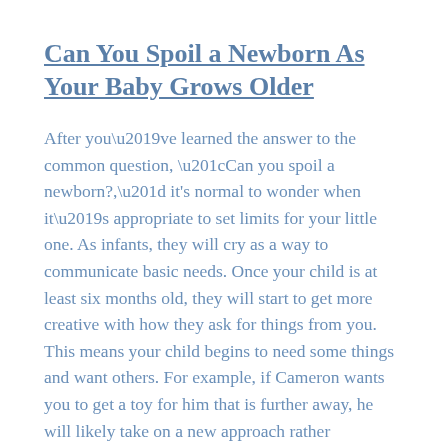Can You Spoil a Newborn As Your Baby Grows Older
After you’ve learned the answer to the common question, “Can you spoil a newborn?,” it's normal to wonder when it’s appropriate to set limits for your little one. As infants, they will cry as a way to communicate basic needs. Once your child is at least six months old, they will start to get more creative with how they ask for things from you. This means your child begins to need some things and want others. For example, if Cameron wants you to get a toy for him that is further away, he will likely take on a new approach rather